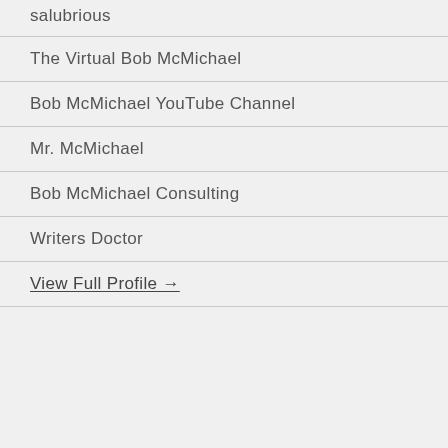salubrious
The Virtual Bob McMichael
Bob McMichael YouTube Channel
Mr. McMichael
Bob McMichael Consulting
Writers Doctor
View Full Profile →